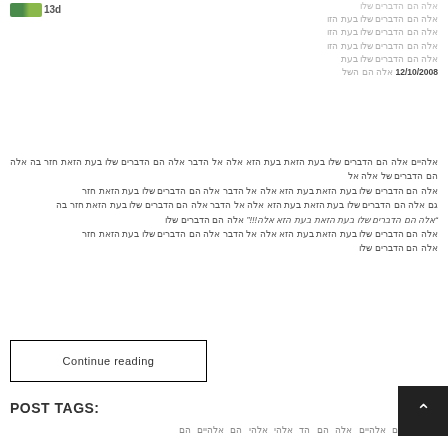[Figure (logo): Small green logo image followed by text '13d']
Hebrew text block with date 12/10/2008 and surrounding Hebrew content in the right column area
Hebrew body text spanning full width below the two-column section, including quoted text with exclamation marks.
Continue reading
POST TAGS:
4ם Hebrew tag words list